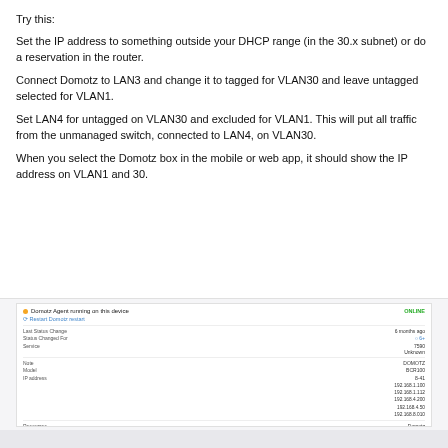Try this:
Set the IP address to something outside your DHCP range (in the 30.x subnet) or do a reservation in the router.
Connect Domotz to LAN3 and change it to tagged for VLAN30 and leave untagged selected for VLAN1.
Set LAN4 for untagged on VLAN30 and excluded for VLAN1. This will put all traffic from the unmanaged switch, connected to LAN4, on VLAN30.
When you select the Domotz box in the mobile or web app, it should show the IP address on VLAN1 and 30.
[Figure (screenshot): Screenshot of Domotz device info panel showing status ONLINE, Last Status Change, Status Changed For, Service, Note, Model, IP address fields with multiple IPs (192.168.1.100, 192.168.1.112, 192.168.4.200, 192.168.4.50, 192.168.8.010), and Resources showing Domotz.]